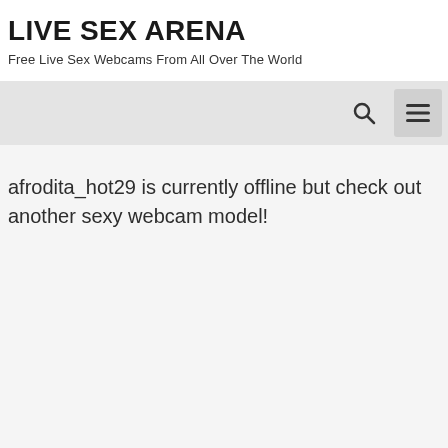LIVE SEX ARENA
Free Live Sex Webcams From All Over The World
afrodita_hot29 is currently offline but check out another sexy webcam model!